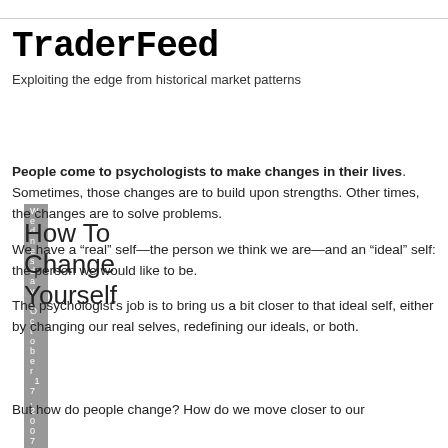TraderFeed
Exploiting the edge from historical market patterns
Wednesday, October 17, 2007
How To Change Yourself
People come to psychologists to make changes in their lives. Sometimes, those changes are to build upon strengths. Other times, the changes are to solve problems.
We have a “real” self—the person we think we are—and an “ideal” self: the person we would like to be.
The psychologist’s job is to bring us a bit closer to that ideal self, either by changing our real selves, redefining our ideals, or both.
But how do people change? How do we move closer to our